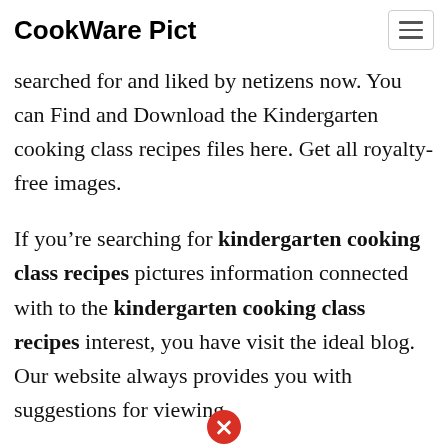CookWare Pict
searched for and liked by netizens now. You can Find and Download the Kindergarten cooking class recipes files here. Get all royalty-free images.
If you're searching for kindergarten cooking class recipes pictures information connected with to the kindergarten cooking class recipes interest, you have visit the ideal blog. Our website always provides you with suggestions for viewing